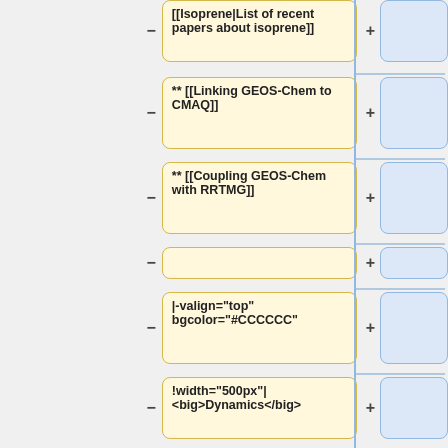[[Isoprene|List of recent papers about isoprene]]
** [[Linking GEOS-Chem to CMAQ]]
** [[Coupling GEOS-Chem with RRTMG]]
|-valign="top" bgcolor="#CCCCCC"
!width="500px"|<big>Dynamics</big>
!width="500px"|<big>Dynamics</big>